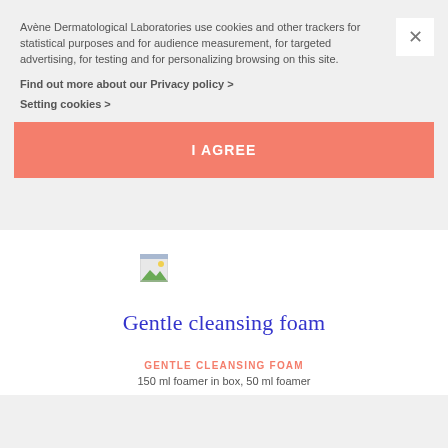Avène Dermatological Laboratories use cookies and other trackers for statistical purposes and for audience measurement, for targeted advertising, for testing and for personalizing browsing on this site.
Find out more about our Privacy policy >
Setting cookies >
I AGREE
[Figure (illustration): Broken image icon placeholder for product image]
Gentle cleansing foam
GENTLE CLEANSING FOAM
150 ml foamer in box, 50 ml foamer